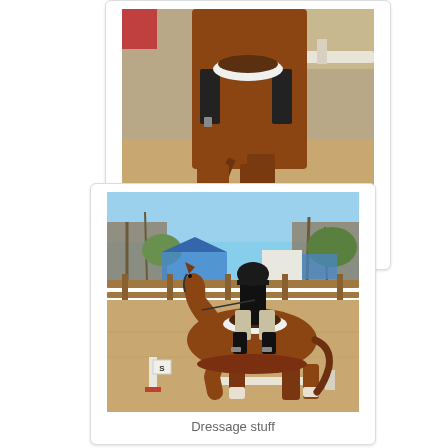[Figure (photo): Close-up photo of horse legs and lower body in a sandy dressage arena, salute pose. Rider's lower body and horse's legs visible from behind.]
Salute
[Figure (photo): Rider in black jacket and helmet on a chestnut horse performing dressage in an outdoor arena with wooden fence and trees in background. Dressage marker 'S' visible.]
Dressage stuff